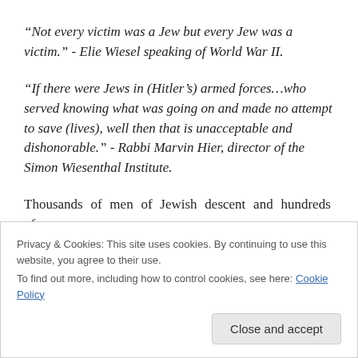“Not every victim was a Jew but every Jew was a victim.” - Elie Wiesel speaking of World War II.
“If there were Jews in (Hitler’s) armed forces…who served knowing what was going on and made no attempt to save (lives), well then that is unacceptable and dishonorable.” - Rabbi Marvin Hier, director of the Simon Wiesenthal Institute.
Thousands of men of Jewish descent and hundreds of
Privacy & Cookies: This site uses cookies. By continuing to use this website, you agree to their use.
To find out more, including how to control cookies, see here: Cookie Policy
Close and accept